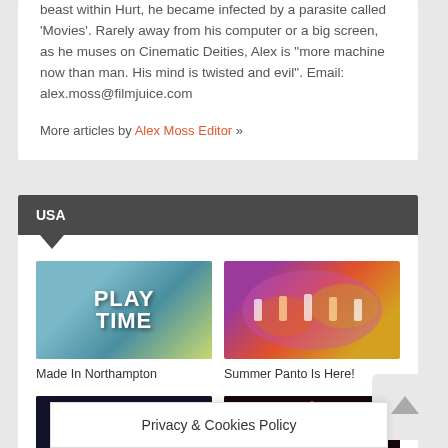beast within Hurt, he became infected by a parasite called 'Movies'. Rarely away from his computer or a big screen, as he muses on Cinematic Deities, Alex is "more machine now than man. His mind is twisted and evil". Email: alex.moss@filmjuice.com
More articles by Alex Moss Editor »
USA
[Figure (photo): Play Time movie poster thumbnail with stylized text]
Made In Northampton
[Figure (photo): Summer panto stage performance with colorful costumes]
Summer Panto Is Here!
[Figure (photo): Dark silhouette image]
[Figure (photo): Firework or creature burst image]
Privacy & Cookies Policy